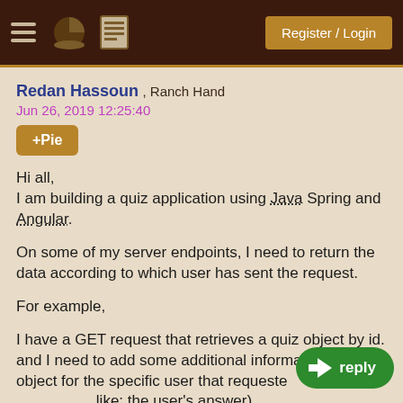Register / Login
Redan Hassoun , Ranch Hand
Jun 26, 2019 12:25:40
+Pie
Hi all,
I am building a quiz application using Java Spring and Angular.

On some of my server endpoints, I need to return the data according to which user has sent the request.

For example,

I have a GET request that retrieves a quiz object by id. and I need to add some additional information on that object for the specific user that requested it (something like: the user's answer).